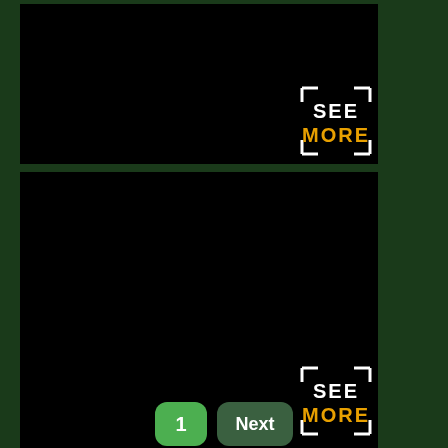[Figure (photo): Black rectangular image panel (top), with a 'SEE MORE' badge overlay in the bottom-right corner featuring white bracket corners, white 'SEE' text and gold 'MORE' text]
[Figure (photo): Black rectangular image panel (bottom, taller), with a 'SEE MORE' badge overlay in the bottom-right corner featuring white bracket corners, white 'SEE' text and gold 'MORE' text]
1
Next